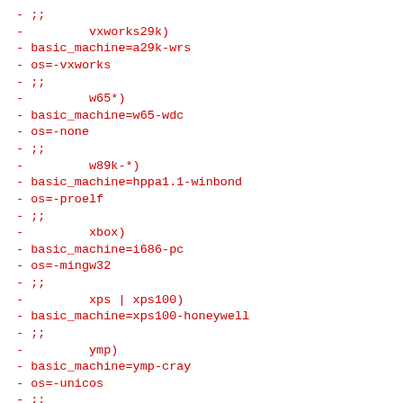- ;;
-         vxworks29k)
- basic_machine=a29k-wrs
- os=-vxworks
- ;;
-         w65*)
- basic_machine=w65-wdc
- os=-none
- ;;
-         w89k-*)
- basic_machine=hppa1.1-winbond
- os=-proelf
- ;;
-         xbox)
- basic_machine=i686-pc
- os=-mingw32
- ;;
-         xps | xps100)
- basic_machine=xps100-honeywell
- ;;
-         ymp)
- basic_machine=ymp-cray
- os=-unicos
- ;;
-         z8k-*-coff)
- basic_machine=z8k-unknown
- os=-sim
- ;;
-         z80-*-coff)
- basic_machine=z80-unknown